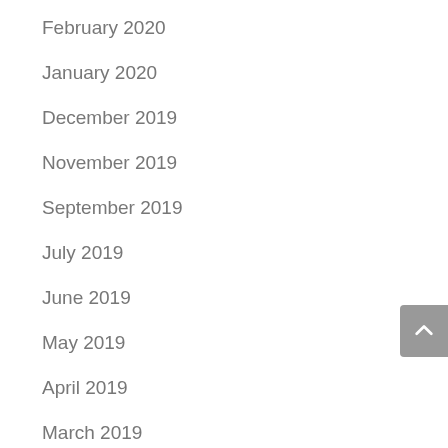February 2020
January 2020
December 2019
November 2019
September 2019
July 2019
June 2019
May 2019
April 2019
March 2019
February 2019
January 2019
July 2018